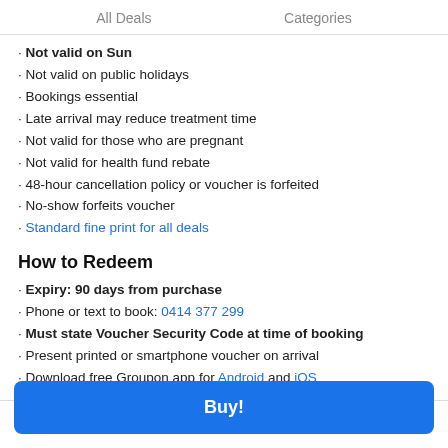All Deals    Categories
Not valid on Sun
Not valid on public holidays
Bookings essential
Late arrival may reduce treatment time
Not valid for those who are pregnant
Not valid for health fund rebate
48-hour cancellation policy or voucher is forfeited
No-show forfeits voucher
Standard fine print for all deals
How to Redeem
Expiry: 90 days from purchase
Phone or text to book: 0414 377 299
Must state Voucher Security Code at time of booking
Present printed or smartphone voucher on arrival
Download free Groupon app for Android and iOS
Buy!